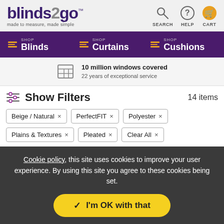[Figure (logo): blinds2go logo with tagline 'made to measure, made simple']
[Figure (infographic): Header icons: Search, Help, Cart]
[Figure (infographic): Navigation bar with Blinds, Curtains, Cushions menu items]
10 million windows covered
22 years of exceptional service
Show Filters   14 items
Beige / Natural ×   PerfectFIT ×   Polyester ×
Plains & Textures ×   Pleated ×   Clear All ×
Cookie policy, this site uses cookies to improve your user experience. By using this site you agree to these cookies being set.
✓ I'm OK with that